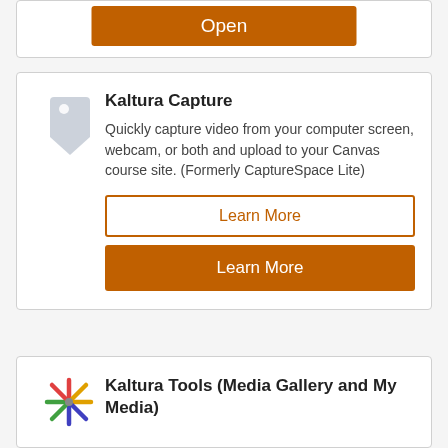[Figure (other): Orange 'Open' button at top of partial card]
[Figure (illustration): Light gray price tag icon for Kaltura Capture card]
Kaltura Capture
Quickly capture video from your computer screen, webcam, or both and upload to your Canvas course site. (Formerly CaptureSpace Lite)
Learn More
Learn More
[Figure (logo): Colorful asterisk/snowflake logo for Kaltura Tools]
Kaltura Tools (Media Gallery and My Media)